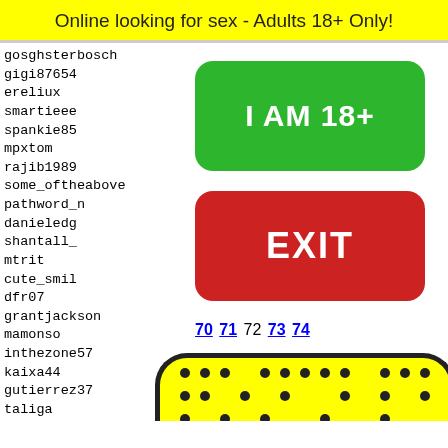Online looking for sex - Adults 18+ Only!
gosghsterbosch
gigi87654
ereliux
smartieee
spankie85
mpxtom
rajib1989
some_oftheabove
pathword_n
danieledg
shantall_
mtrit
cute_smil
dfr07
grantjackson
mamonso
inthezone57
kaixa44
gutierrez37
taliga
floril
gatos_
mrsaus
hobbym
loi_jo
[Figure (infographic): Green button saying I AM 18+]
[Figure (infographic): Red button saying EXIT]
70 71 72 73 74
[Figure (illustration): Yellow emoji face with black dot pattern and bow tie at bottom]